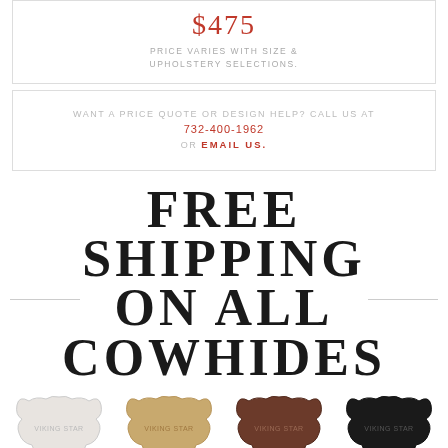$475
PRICE VARIES WITH SIZE & UPHOLSTERY SELECTIONS.
WANT A PRICE QUOTE OR DESIGN HELP? CALL US AT 732-400-1962 OR EMAIL US.
FREE SHIPPING ON ALL COWHIDES
[Figure (photo): Four cowhide rug samples in white, tan/beige, brown, and black colors with Viking Star branding]